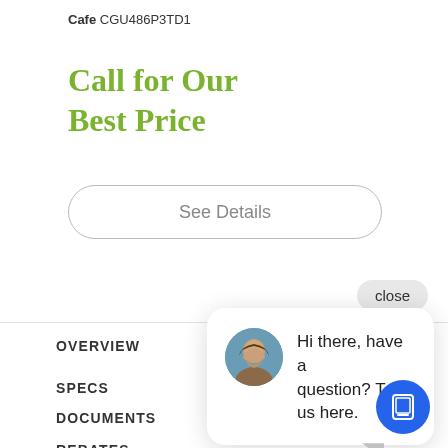Cafe CGU486P3TD1
Call for Our Best Price
See Details
close
[Figure (screenshot): Chat popup with avatar photo and text: Hi there, have a question? Text us here.]
OVERVIEW
SPECS
DOCUMENTS
REBATES